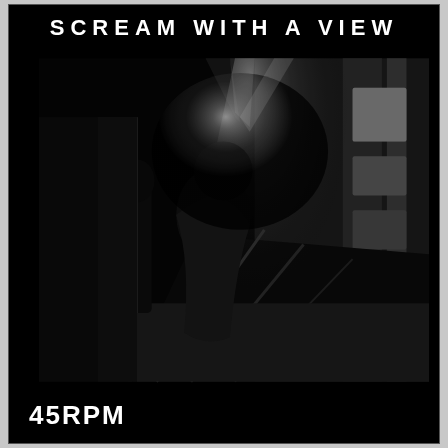SCREAM WITH A VIEW
[Figure (photo): Black and white photograph of a person standing at the edge of a subway/train platform, seen from behind, with dramatic light beams and a train or tunnel structure visible in the background. The scene is dark and atmospheric.]
45RPM